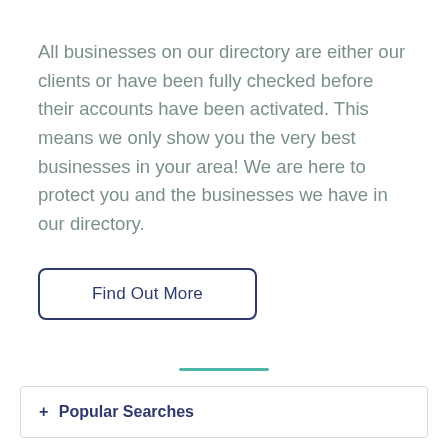All businesses on our directory are either our clients or have been fully checked before their accounts have been activated. This means we only show you the very best businesses in your area! We are here to protect you and the businesses we have in our directory.
[Figure (other): Button labeled 'Find Out More' with a dark navy border and rounded corners]
[Figure (other): Short teal horizontal decorative line centered on the page]
+ Popular Searches